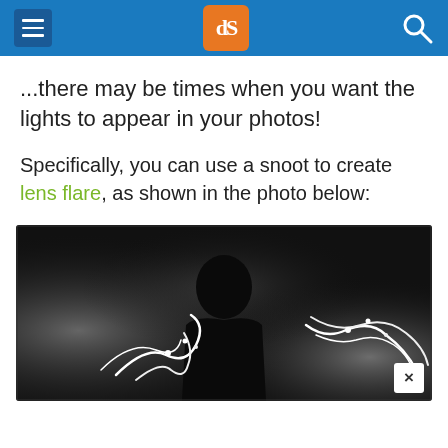dPS (digital photography school) header navigation
...there may be times when you want the lights to appear in your photos!
Specifically, you can use a snoot to create lens flare, as shown in the photo below:
[Figure (photo): Black and white photograph of a silhouetted musician/performer surrounded by bright light trails and lens flare effects, shot against a dark background with dramatic stage lighting beams.]